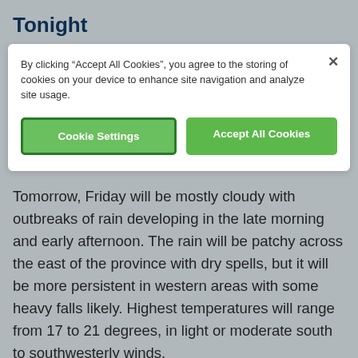Tonight
By clicking “Accept All Cookies”, you agree to the storing of cookies on your device to enhance site navigation and analyze site usage.
Cookie Settings
Accept All Cookies
Tomorrow, Friday will be mostly cloudy with outbreaks of rain developing in the late morning and early afternoon. The rain will be patchy across the east of the province with dry spells, but it will be more persistent in western areas with some heavy falls likely. Highest temperatures will range from 17 to 21 degrees, in light or moderate south to southwesterly winds.
View Full Forecast